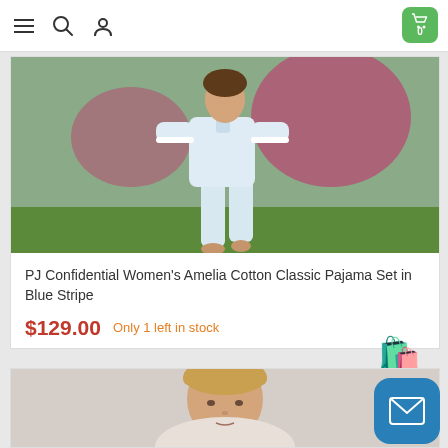Navigation bar with menu, search, profile icons and cart showing 0
[Figure (photo): Woman wearing a light blue striped cotton pajama set, standing outdoors in a garden with flowers in the background]
PJ Confidential Women's Amelia Cotton Classic Pajama Set in Blue Stripe
$129.00  Only 1 left in stock
[Figure (illustration): Orange shopping bag emoji icon]
[Figure (photo): Woman's face, beginning of second product card at bottom of page]
[Figure (illustration): Blue rounded square button with white envelope/mail icon]